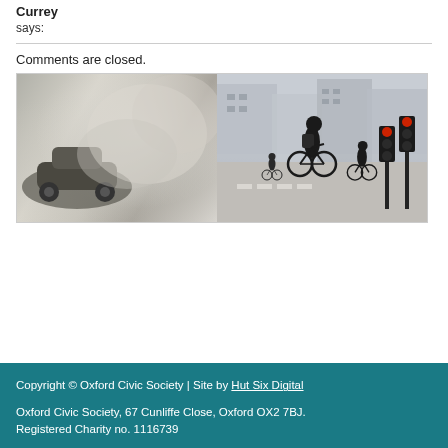Currey
says:
Comments are closed.
[Figure (photo): Two-panel composite image: left panel shows a car emitting smoke/exhaust fumes in close-up; right panel shows cyclists and pedestrians at a city street intersection with traffic lights and European-style buildings in background.]
Copyright © Oxford Civic Society | Site by Hut Six Digital

Oxford Civic Society, 67 Cunliffe Close, Oxford OX2 7BJ. Registered Charity no. 1116739